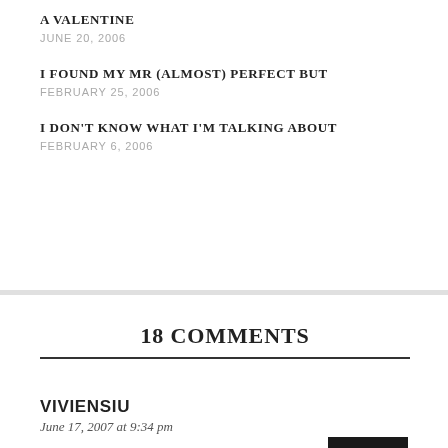A VALENTINE
JUNE 20, 2006
I FOUND MY MR (ALMOST) PERFECT BUT
FEBRUARY 25, 2006
I DON'T KNOW WHAT I'M TALKING ABOUT
FEBRUARY 6, 2006
18 COMMENTS
REPLY
VIVIENSIU
June 17, 2007 at 9:34 pm